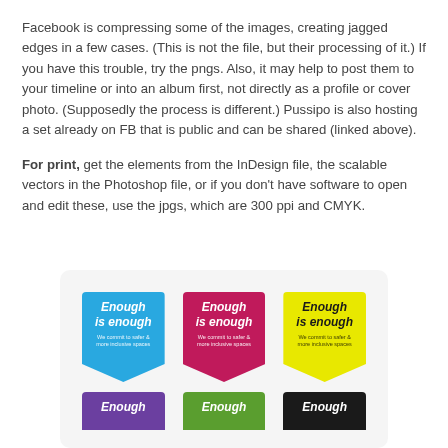Facebook is compressing some of the images, creating jagged edges in a few cases. (This is not the file, but their processing of it.) If you have this trouble, try the pngs. Also, it may help to post them to your timeline or into an album first, not directly as a profile or cover photo. (Supposedly the process is different.) Pussipo is also hosting a set already on FB that is public and can be shared (linked above).

For print, get the elements from the InDesign file, the scalable vectors in the Photoshop file, or if you don't have software to open and edit these, use the jpgs, which are 300 ppi and CMYK.
[Figure (illustration): A grid of colored pennant/badge shapes in blue, magenta, yellow (top row) and purple, green, black (bottom row, partially visible). Each badge reads 'Enough is enough' with small subtitle text 'We commit to safer & more inclusive spaces'.]